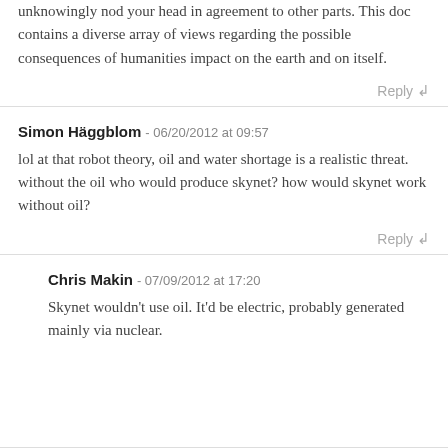unknowingly nod your head in agreement to other parts. This doc contains a diverse array of views regarding the possible consequences of humanities impact on the earth and on itself.
Reply ↲
Simon Häggblom - 06/20/2012 at 09:57
lol at that robot theory, oil and water shortage is a realistic threat. without the oil who would produce skynet? how would skynet work without oil?
Reply ↲
Chris Makin - 07/09/2012 at 17:20
Skynet wouldn't use oil. It'd be electric, probably generated mainly via nuclear.